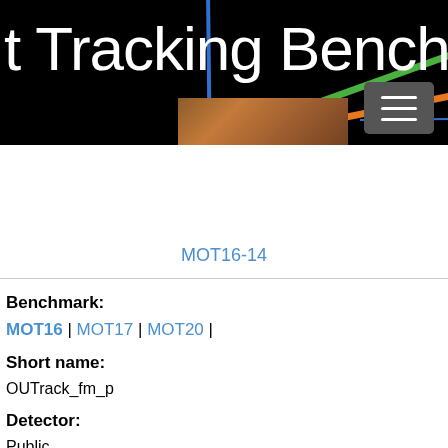[Figure (screenshot): Website header banner for Multi-Object Tracking Benchmark with large white text 't Tracking Benchm' on black background, with colored diagonal lines (orange, green, blue) overlaid, a hamburger menu button at top right, and a small thumbnail image of people partially visible]
MOT16-14
Benchmark:
MOT16 | MOT17 | MOT20 |
Short name:
OUTrack_fm_p
Detector:
Public